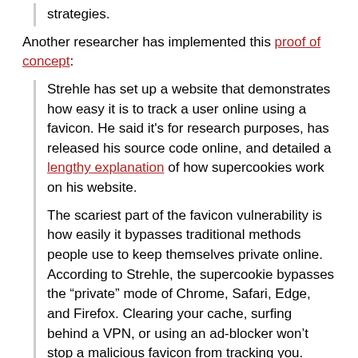strategies.
Another researcher has implemented this proof of concept:
Strehle has set up a website that demonstrates how easy it is to track a user online using a favicon. He said it's for research purposes, has released his source code online, and detailed a lengthy explanation of how supercookies work on his website.
The scariest part of the favicon vulnerability is how easily it bypasses traditional methods people use to keep themselves private online. According to Strehle, the supercookie bypasses the “private” mode of Chrome, Safari, Edge, and Firefox. Clearing your cache, surfing behind a VPN, or using an ad-blocker won’t stop a malicious favicon from tracking you.
EDITED TO ADD (3/12): There was an issue about whether this paper was inappropriately disclosed, and briefly deleted from the NDSS website. It was later put back with a prefatory note from the NDSS.